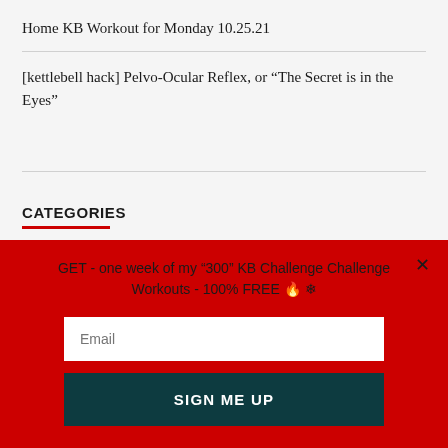Home KB Workout for Monday 10.25.21
[kettlebell hack] Pelvo-Ocular Reflex, or “The Secret is in the Eyes”
CATEGORIES
GET - one week of my “300” KB Challenge Challenge Workouts - 100% FREE 🔥 ❄
Email
SIGN ME UP